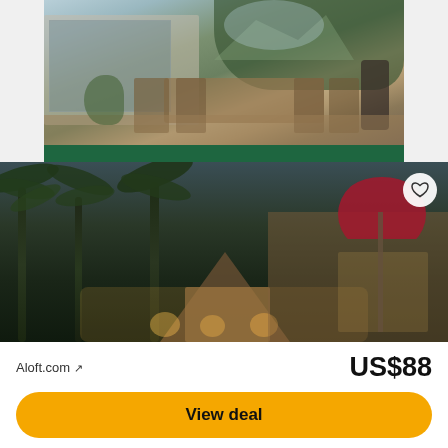[Figure (photo): Outdoor dining area of a vacation rental home with wooden table and chairs, glass walls, and mountain/forest backdrop]
Rent a home for your next vacation
Explore rentals
[Figure (photo): Tropical resort exterior at dusk with palm trees, thatched roof huts, warm lighting, and a red patio umbrella]
Aloft.com ↗
US$88
View deal